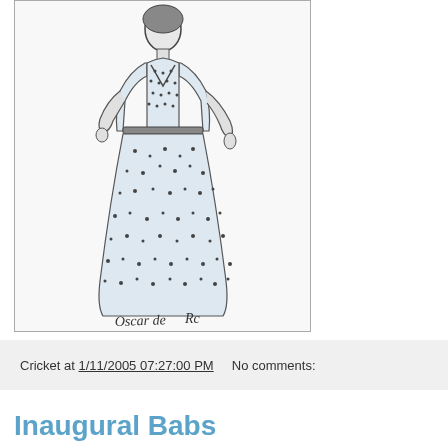[Figure (illustration): Fashion sketch / illustration of a woman in a long dotted gown with a belt, drawn in pencil/ink style with a designer signature at the bottom]
Cricket at 1/11/2005 07:27:00 PM    No comments:
Inaugural Babs